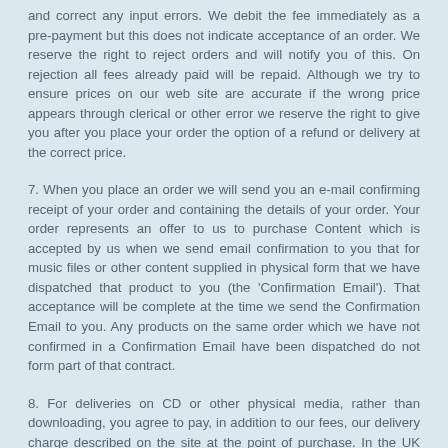and correct any input errors. We debit the fee immediately as a pre-payment but this does not indicate acceptance of an order. We reserve the right to reject orders and will notify you of this. On rejection all fees already paid will be repaid. Although we try to ensure prices on our web site are accurate if the wrong price appears through clerical or other error we reserve the right to give you after you place your order the option of a refund or delivery at the correct price.
7. When you place an order we will send you an e-mail confirming receipt of your order and containing the details of your order. Your order represents an offer to us to purchase Content which is accepted by us when we send email confirmation to you that for music files or other content supplied in physical form that we have dispatched that product to you (the 'Confirmation Email'). That acceptance will be complete at the time we send the Confirmation Email to you. Any products on the same order which we have not confirmed in a Confirmation Email have been dispatched do not form part of that contract.
8. For deliveries on CD or other physical media, rather than downloading, you agree to pay, in addition to our fees, our delivery charge described on the site at the point of purchase. In the UK and